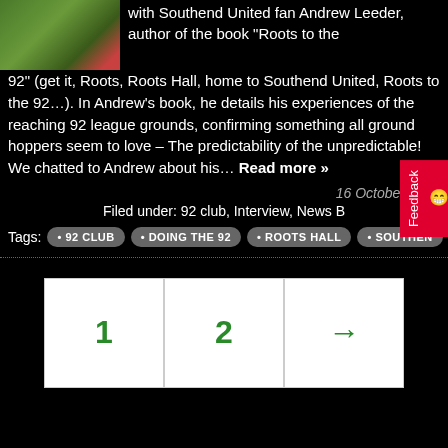[Figure (photo): Thumbnail photo of a football/soccer match on a pitch]
with Southend United fan Andrew Leeder, author of the book "Roots to the 92" (get it, Roots, Roots Hall, home to Southend United, Roots to the 92…). In Andrew's book, he details his experiences of the reaching 92 league grounds, confirming something all ground hoppers seem to love – The predictability of the unpredictable! We chatted to Andrew about his… Read more »
16 October 2016
Filed under: 92 club, Interview, News B
Tags: • 92 CLUB • DOING THE 92 • ROOTS HALL • SOUTHEN
1  2  →